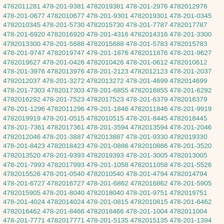4782011281 478-201-9381 4782019381 478-201-2976 4782012976 478-201-0677 4782010677 478-201-9301 4782019301 478-201-0345 4782010345 478-201-5730 4782015730 478-201-7787 4782017787 478-201-6920 4782016920 478-201-4316 4782014316 478-201-3300 4782013300 478-201-5688 4782015688 478-201-5783 4782015783 478-201-9747 4782019747 478-201-1876 4782011876 478-201-9627 4782019627 478-201-0426 4782010426 478-201-0612 4782010612 478-201-3976 4782013976 478-201-2123 4782012123 478-201-2037 4782012037 478-201-3272 4782013272 478-201-4699 4782014699 478-201-7303 4782017303 478-201-6855 4782016855 478-201-6292 4782016292 478-201-7523 4782017523 478-201-6379 4782016379 478-201-1296 4782011296 478-201-1846 4782011846 478-201-9919 4782019919 478-201-0515 4782010515 478-201-8445 4782018445 478-201-7361 4782017361 478-201-3594 4782013594 478-201-2046 4782012046 478-201-3887 4782013887 478-201-9330 4782019330 478-201-8423 4782018423 478-201-0886 4782010886 478-201-3520 4782013520 478-201-9393 4782019393 478-201-3005 4782013005 478-201-7993 4782017993 478-201-1058 4782011058 478-201-5526 4782015526 478-201-0540 4782010540 478-201-4794 4782014794 478-201-6727 4782016727 478-201-6862 4782016862 478-201-5905 4782015905 478-201-8040 4782018040 478-201-9751 4782019751 478-201-4024 4782014024 478-201-0815 4782010815 478-201-6462 4782016462 478-201-8466 4782018466 478-201-1004 4782011004 478-201-7771 4782017771 478-201-5135 4782015135 478-201-1394 4782011394 478-201-3498 4782013498 478-201-1601 4782011601 478-201-3169 4782013169 478-201-2053 4782012053 478-201-8542 4782018542 478-201-3347 4782013347 478-201-5730 4782015730